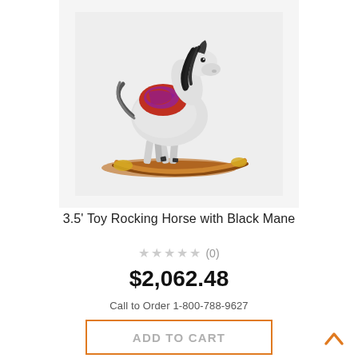[Figure (photo): A decorative rocking horse toy with a white body, black mane, and colorful red/purple saddle on a wooden rocker base. The figure is displayed against a light gray/white background.]
3.5' Toy Rocking Horse with Black Mane
★★★★★ (0)
$2,062.48
Call to Order 1-800-788-9627
ADD TO CART